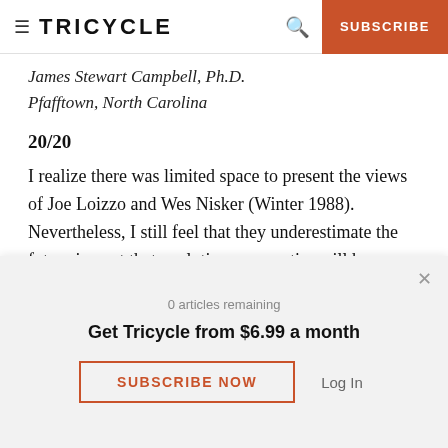TRICYCLE | SUBSCRIBE
James Stewart Campbell, Ph.D.
Pfafftown, North Carolina
20/20
I realize there was limited space to present the views of Joe Loizzo and Wes Nisker (Winter 1988). Nevertheless, I still feel that they underestimate the future impact that evolutionary genetics will have on religion, including Buddhism. Of the major
0 articles remaining
Get Tricycle from $6.99 a month
SUBSCRIBE NOW   Log In